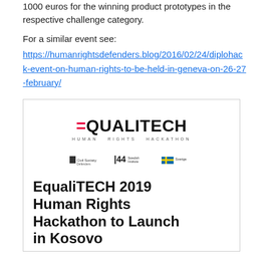1000 euros for the winning product prototypes in the respective challenge category.
For a similar event see:
https://humanrightsdefenders.blog/2016/02/24/diplohack-event-on-human-rights-to-be-held-in-geneva-on-26-27-february/
[Figure (logo): EqualiTECH Human Rights Hackathon logo with sponsor logos and text 'EqualiTECH 2019 Human Rights Hackathon to Launch in Kosovo']